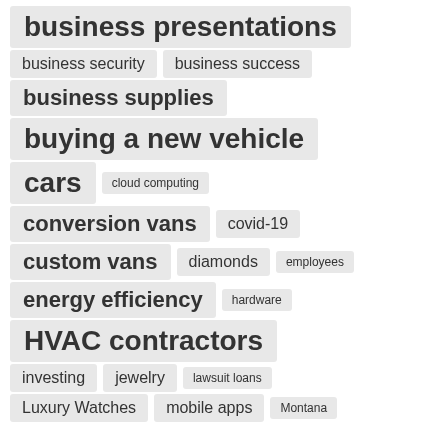business presentations
business security
business success
business supplies
buying a new vehicle
cars
cloud computing
conversion vans
covid-19
custom vans
diamonds
employees
energy efficiency
hardware
HVAC contractors
investing
jewelry
lawsuit loans
Luxury Watches
mobile apps
Montana